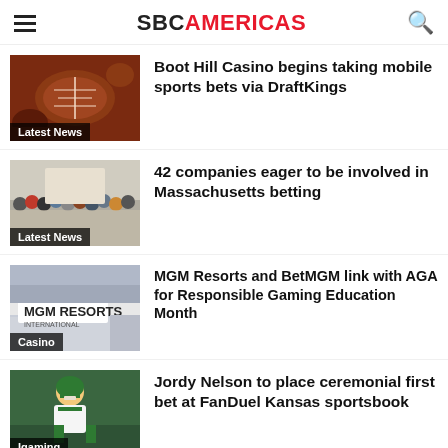SBC AMERICAS
[Figure (photo): Close-up of american footballs and sports balls]
Latest News
Boot Hill Casino begins taking mobile sports bets via DraftKings
[Figure (photo): Crowd of people standing in a queue outdoors]
Latest News
42 companies eager to be involved in Massachusetts betting
[Figure (photo): MGM Resorts International building sign]
Casino
MGM Resorts and BetMGM link with AGA for Responsible Gaming Education Month
[Figure (photo): Football player wearing green and yellow helmet (Jordy Nelson)]
Igaming
Jordy Nelson to place ceremonial first bet at FanDuel Kansas sportsbook